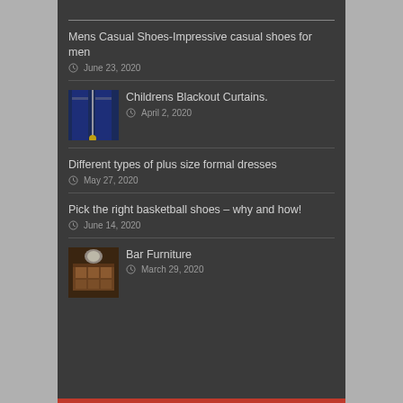Mens Casual Shoes-Impressive casual shoes for men
June 23, 2020
Childrens Blackout Curtains.
April 2, 2020
Different types of plus size formal dresses
May 27, 2020
Pick the right basketball shoes – why and how!
June 14, 2020
Bar Furniture
March 29, 2020